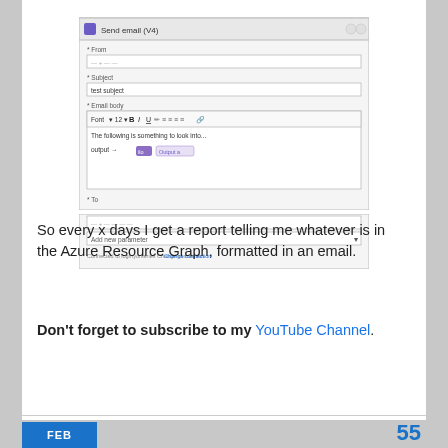[Figure (screenshot): Screenshot of a 'Send email (V4)' dialog/form showing fields for From, Subject (with 'test subject' filled in), Email body with formatting toolbar and text 'The following is something to look into...' with dynamic content tokens, To field, Add new parameter dropdown, and a connection notice at the bottom.]
So every x days I get a report telling me whatever is in the Azure Resource Graph, formatted in an email.
Don't forget to subscribe to my YouTube Channel.
FEB   55